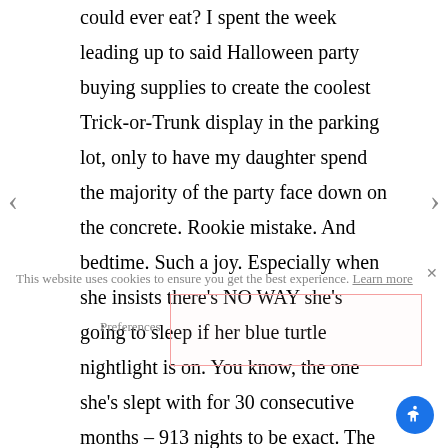could ever eat? I spent the week leading up to said Halloween party buying supplies to create the coolest Trick-or-Trunk display in the parking lot, only to have my daughter spend the majority of the party face down on the concrete. Rookie mistake. And bedtime. Such a joy. Especially when she insists there's NO WAY she's going to sleep if her blue turtle nightlight is on. You know, the one she's slept with for 30 consecutive months – 913 nights to be exact. The other morning, I noticed one of my daughter's socks slipped over the top of the monitor in her room. When I asked about it, my husband told me that she became hysterical the
This website uses cookies to ensure you get the best experience. Learn more